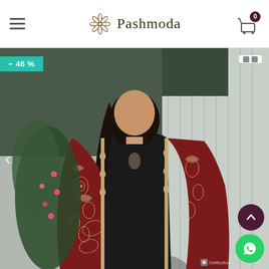Pashmoda — navigation header with hamburger menu, logo, and cart icon (0 items)
[Figure (photo): A woman wearing a black outfit with a deep maroon/wine-red embroidered shawl/dupatta with gold/cream floral embroidery (Kashmiri style), standing outdoors near plants with pink flowers. A teal '-46%' discount badge overlays the top-left corner of the image. Navigation arrow on left side. Pause button top right. Scroll-to-top purple circle button and green WhatsApp circle button at bottom right.]